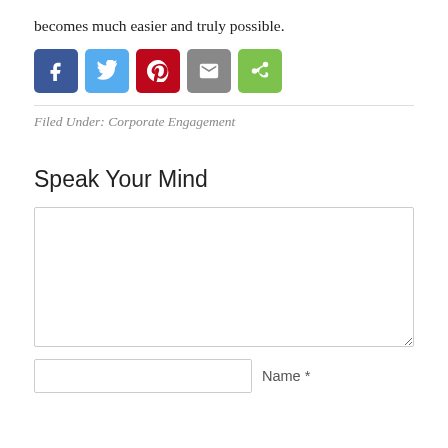becomes much easier and truly possible.
[Figure (other): Row of social sharing buttons: Facebook (blue), Twitter (light blue), Pinterest (red), Email (gray), Share (green)]
Filed Under: Corporate Engagement
Speak Your Mind
[Figure (other): Large empty comment text area input box]
Name *